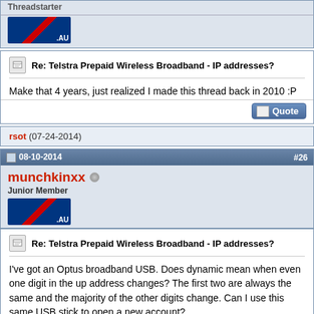Threadstarter
Re: Telstra Prepaid Wireless Broadband - IP addresses?
Make that 4 years, just realized I made this thread back in 2010 :P
rsot (07-24-2014)
08-10-2014  #26
munchkinxx
Junior Member
Re: Telstra Prepaid Wireless Broadband - IP addresses?
I've got an Optus broadband USB. Does dynamic mean when even one digit in the up address changes? The first two are always the same and the majority of the other digits change. Can I use this same USB stick to open a new account?
08-10-2014  #27